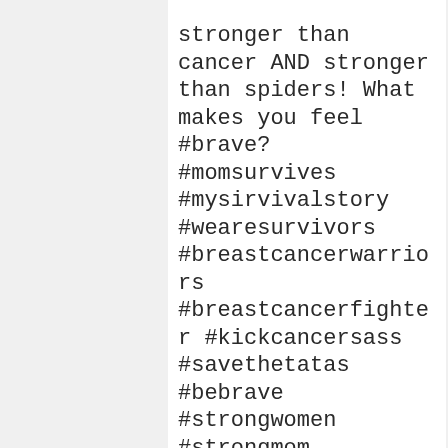stronger than cancer AND stronger than spiders! What makes you feel #brave? #momsurvives #mysirvivalstory #wearesurvivors #breastcancerwarriors #breastcancerfighter #kickcancersass #savethetatas #bebrave #strongwomen #strongmom